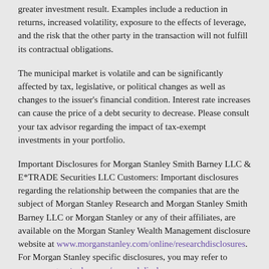greater investment result. Examples include a reduction in returns, increased volatility, exposure to the effects of leverage, and the risk that the other party in the transaction will not fulfill its contractual obligations.
The municipal market is volatile and can be significantly affected by tax, legislative, or political changes as well as changes to the issuer's financial condition. Interest rate increases can cause the price of a debt security to decrease. Please consult your tax advisor regarding the impact of tax-exempt investments in your portfolio.
Important Disclosures for Morgan Stanley Smith Barney LLC & E*TRADE Securities LLC Customers: Important disclosures regarding the relationship between the companies that are the subject of Morgan Stanley Research and Morgan Stanley Smith Barney LLC or Morgan Stanley or any of their affiliates, are available on the Morgan Stanley Wealth Management disclosure website at www.morganstanley.com/online/researchdisclosures. For Morgan Stanley specific disclosures, you may refer to www.morganstanley.com/researchdisclosures.